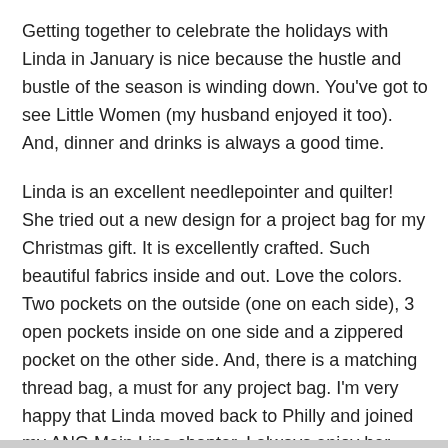Getting together to celebrate the holidays with Linda in January is nice because the hustle and bustle of the season is winding down. You've got to see Little Women (my husband enjoyed it too). And, dinner and drinks is always a good time.
Linda is an excellent needlepointer and quilter! She tried out a new design for a project bag for my Christmas gift. It is excellently crafted. Such beautiful fabrics inside and out. Love the colors. Two pockets on the outside (one on each side), 3 open pockets inside on one side and a zippered pocket on the other side. And, there is a matching thread bag, a must for any project bag. I'm very happy that Linda moved back to Philly and joined my ANG Main Line chapter. I always enjoy her company.